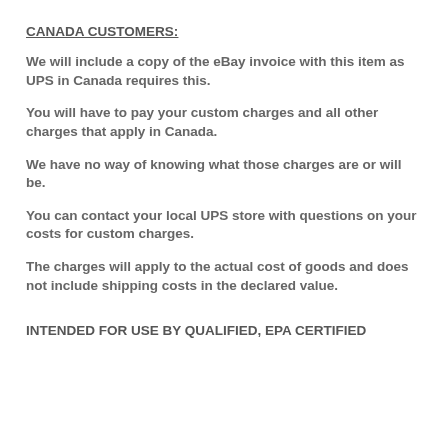CANADA CUSTOMERS:
We will include a copy of the eBay invoice with this item as UPS in Canada requires this.
You will have to pay your custom charges and all other charges that apply in Canada.
We have no way of knowing what those charges are or will be.
You can contact your local UPS store with questions on your costs for custom charges.
The charges will apply to the actual cost of goods and does not include shipping costs in the declared value.
INTENDED FOR USE BY QUALIFIED, EPA CERTIFIED